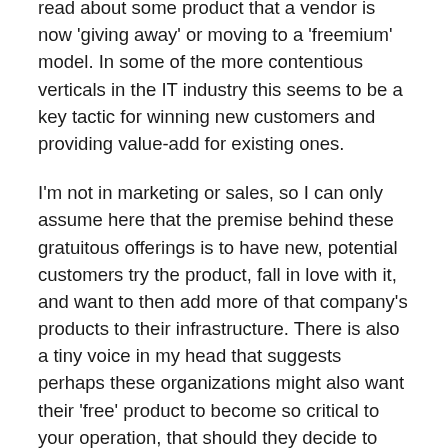read about some product that a vendor is now 'giving away' or moving to a 'freemium' model. In some of the more contentious verticals in the IT industry this seems to be a key tactic for winning new customers and providing value-add for existing ones.
I'm not in marketing or sales, so I can only assume here that the premise behind these gratuitous offerings is to have new, potential customers try the product, fall in love with it, and want to then add more of that company's products to their infrastructure. There is also a tiny voice in my head that suggests perhaps these organizations might also want their 'free' product to become so critical to your operation, that should they decide to charge a fee or licensing for said product at some point in the future, that you'd be forced to pay because it has become something you simply couldn't live without.